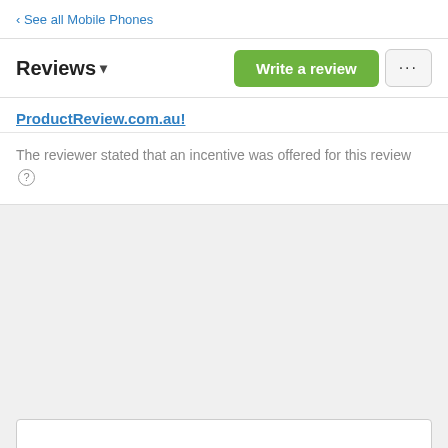‹ See all Mobile Phones
Reviews ▾
ProductReview.com.au!
The reviewer stated that an incentive was offered for this review ?